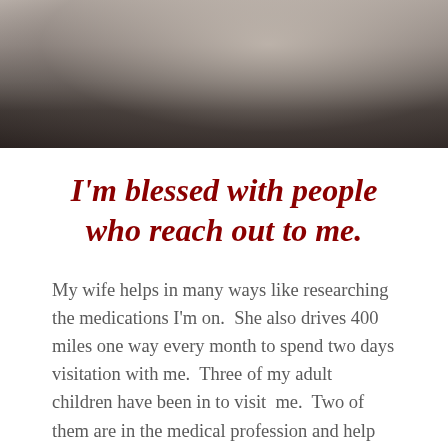[Figure (photo): Blurred photograph of a person, showing dark clothing against an out-of-focus background with light bokeh effects.]
I'm blessed with people who reach out to me.
My wife helps in many ways like researching the medications I'm on.  She also drives 400 miles one way every month to spend two days visitation with me.  Three of my adult children have been in to visit  me.  Two of them are in the medical profession and help me with medication questions as well.  My sister has come a bit farther to visit twice and does the work for this